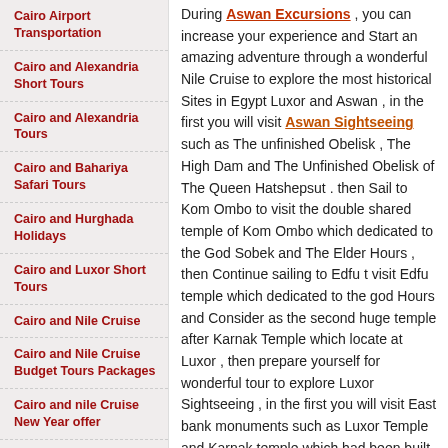Cairo Airport Transportation
Cairo and Alexandria Short Tours
Cairo and Alexandria Tours
Cairo and Bahariya Safari Tours
Cairo and Hurghada Holidays
Cairo and Luxor Short Tours
Cairo and Nile Cruise
Cairo and Nile Cruise Budget Tours Packages
Cairo and nile Cruise New Year offer
Cairo and Nile Cruise Package
Cairo and Nile Cruise Package by Air
During Aswan Excursions , you can increase your experience and Start an amazing adventure through a wonderful Nile Cruise to explore the most historical Sites in Egypt Luxor and Aswan , in the first you will visit Aswan Sightseeing such as The unfinished Obelisk , The High Dam and The Unfinished Obelisk of The Queen Hatshepsut . then Sail to Kom Ombo to visit the double shared temple of Kom Ombo which dedicated to the God Sobek and The Elder Hours , then Continue sailing to Edfu t visit Edfu temple which dedicated to the god Hours and Consider as the second huge temple after Karnak Temple which locate at Luxor , then prepare yourself for wonderful tour to explore Luxor Sightseeing , in the first you will visit East bank monuments such as Luxor Temple and Karnak temple which had been built in different two axis the second one start from the